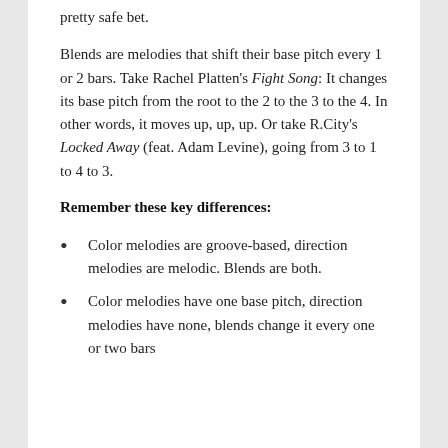pretty safe bet.
Blends are melodies that shift their base pitch every 1 or 2 bars. Take Rachel Platten's Fight Song: It changes its base pitch from the root to the 2 to the 3 to the 4. In other words, it moves up, up, up. Or take R.City's Locked Away (feat. Adam Levine), going from 3 to 1 to 4 to 3.
Remember these key differences:
Color melodies are groove-based, direction melodies are melodic. Blends are both.
Color melodies have one base pitch, direction melodies have none, blends change it every one or two bars